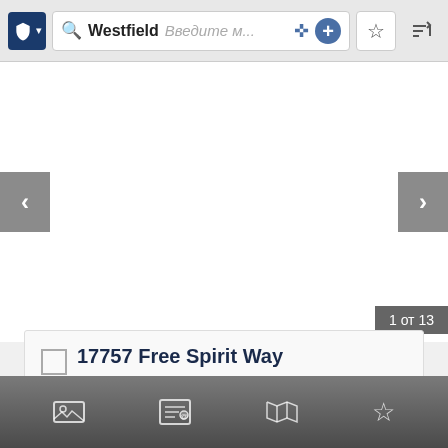[Figure (screenshot): Mobile app toolbar with shield icon, search bar showing 'Westfield' and placeholder text 'Введите м...', compass icon, plus button, star button, and sort button]
[Figure (screenshot): Property photo area with left/right navigation arrows and counter badge showing '1 от 13']
17757 Free Spirit Way
17757 Free Spirit Way Westfield, Индиана 46074 Со...
4  2  3,110  $3,375 MONTHLY
[Figure (screenshot): Bottom navigation bar with photo gallery, contact/info, map icons and a star/favorite icon]